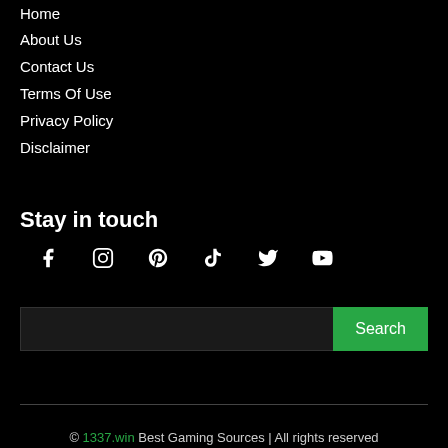Home
About Us
Contact Us
Terms Of Use
Privacy Policy
Disclaimer
Stay in touch
[Figure (infographic): Social media icons row: Facebook, Instagram, Pinterest, TikTok, Twitter, YouTube]
[Figure (other): Search bar with text input and green Search button]
© 1337.win Best Gaming Sources | All rights reserved